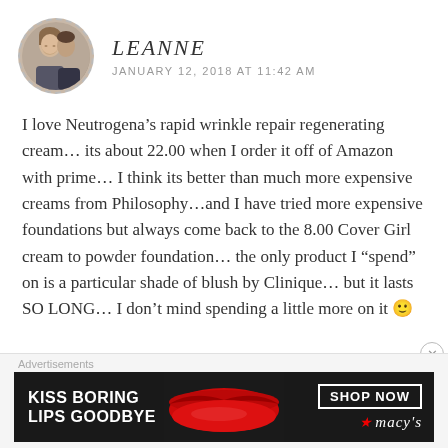[Figure (photo): Circular avatar photo of a woman and a man, dashed circular border]
LEANNE
JANUARY 12, 2018 AT 11:42 AM
I love Neutrogena’s rapid wrinkle repair regenerating cream… its about 22.00 when I order it off of Amazon with prime… I think its better than much more expensive creams from Philosophy…and I have tried more expensive foundations but always come back to the 8.00 Cover Girl cream to powder foundation… the only product I “spend” on is a particular shade of blush by Clinique… but it lasts SO LONG… I don’t mind spending a little more on it 🙂
Advertisements
[Figure (other): Macy's advertisement banner: KISS BORING LIPS GOODBYE with red lips image, SHOP NOW button, and Macy's star logo]